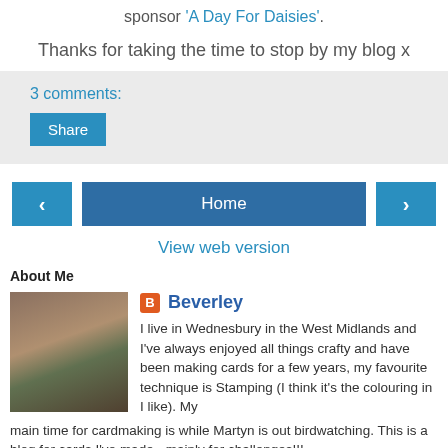sponsor 'A Day For Daisies'.
Thanks for taking the time to stop by my blog x
3 comments:
Share
Home
View web version
About Me
[Figure (photo): Profile photo of Beverley, a woman wearing a white hat and scarf outdoors]
Beverley
I live in Wednesbury in the West Midlands and I've always enjoyed all things crafty and have been making cards for a few years, my favourite technique is Stamping (I think it's the colouring in I like). My main time for cardmaking is while Martyn is out birdwatching. This is a blog for cards I've made - mainly for challenges!!!